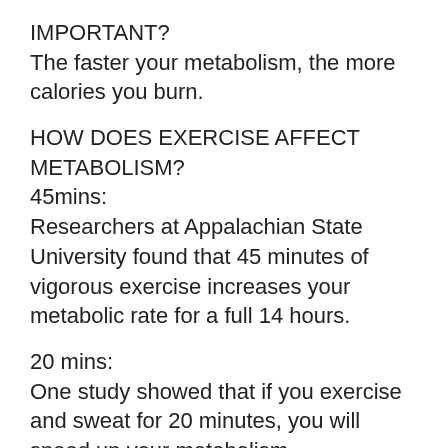IMPORTANT?
The faster your metabolism, the more calories you burn.
HOW DOES EXERCISE AFFECT METABOLISM?
45mins:
Researchers at Appalachian State University found that 45 minutes of vigorous exercise increases your metabolic rate for a full 14 hours.
20 mins:
One study showed that if you exercise and sweat for 20 minutes, you will speed up your metabolism.
2.5 mins: